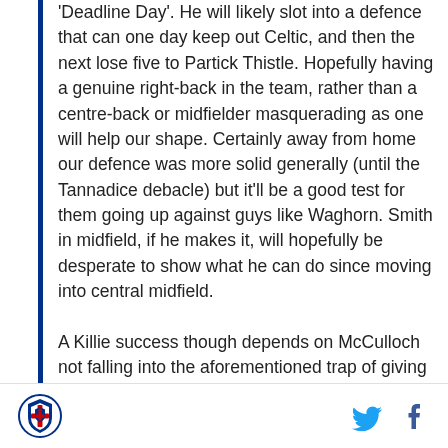'Deadline Day'. He will likely slot into a defence that can one day keep out Celtic, and then the next lose five to Partick Thistle. Hopefully having a genuine right-back in the team, rather than a centre-back or midfielder masquerading as one will help our shape. Certainly away from home our defence was more solid generally (until the Tannadice debacle) but it'll be a good test for them going up against guys like Waghorn. Smith in midfield, if he makes it, will hopefully be desperate to show what he can do since moving into central midfield.

A Killie success though depends on McCulloch not falling into the aforementioned trap of giving Rangers too much respect, like Allan Johnston did in our 3-0 defeat at Ibrox last season. If we play the
[Figure (logo): Kilmarnock FC circular badge/crest logo in blue and red]
[Figure (logo): Twitter bird icon in cyan/blue]
[Figure (logo): Facebook 'f' icon in dark blue]